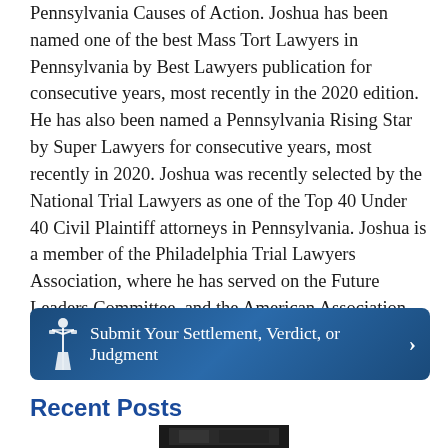Pennsylvania Causes of Action. Joshua has been named one of the best Mass Tort Lawyers in Pennsylvania by Best Lawyers publication for consecutive years, most recently in the 2020 edition. He has also been named a Pennsylvania Rising Star by Super Lawyers for consecutive years, most recently in 2020. Joshua was recently selected by the National Trial Lawyers as one of the Top 40 Under 40 Civil Plaintiff attorneys in Pennsylvania. Joshua is a member of the Philadelphia Trial Lawyers Association, where he has served on the Future Leaders Committee, and the American Association for Justice. Joshua is licensed to practice law in Pennsylvania and New Jersey.
[Figure (infographic): Dark blue banner button with a Lady Justice icon on the left, text 'Submit Your Settlement, Verdict, or Judgment' and a right-pointing chevron arrow on the right.]
Recent Posts
[Figure (photo): Partial thumbnail image at bottom of page, dark/black and white photo strip]